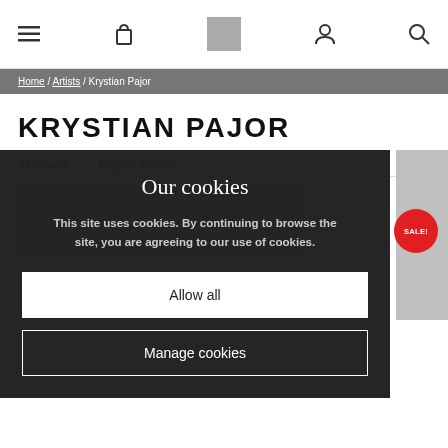Navigation bar with menu, bag, logo placeholder, account, and search icons
Home / Artists / Krystian Pajor
KRYSTIAN PAJOR
All Artwork   Original Artwork
[Figure (screenshot): Cookie consent overlay with title 'Our cookies', description text, Allow all button, and Manage cookies button]
Our cookies
This site uses cookies. By continuing to browse the site, you are agreeing to our use of cookies.
Allow all
Manage cookies
SALE!